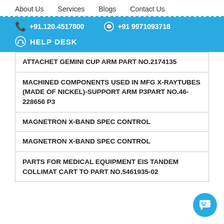About Us   Services   Blogs   Contact Us
+91.120.4517800   +91 9971093718   HELP DESK
ATTACHET GEMINI CUP ARM PART NO.2174135
MACHINED COMPONENTS USED IN MFG X-RAYTUBES (MADE OF NICKEL)-SUPPORT ARM P3PART NO.46-228656 P3
MAGNETRON X-BAND SPEC CONTROL
MAGNETRON X-BAND SPEC CONTROL
PARTS FOR MEDICAL EQUIPMENT EIS TANDEM COLLIMAT CART TO PART NO.5461935-02